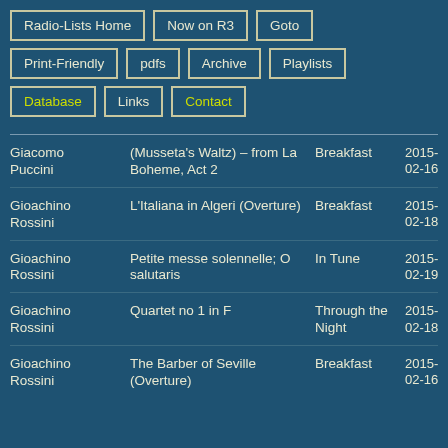Radio-Lists Home
Now on R3
Goto
Print-Friendly
pdfs
Archive
Playlists
Database
Links
Contact
| Composer | Work | Show | Date | Time |
| --- | --- | --- | --- | --- |
| Giacomo Puccini | (Musseta's Waltz) – from La Boheme, Act 2 | Breakfast | 2015-02-16 | 06:3 |
| Gioachino Rossini | L'Italiana in Algeri (Overture) | Breakfast | 2015-02-18 | 06:3 |
| Gioachino Rossini | Petite messe solennelle; O salutaris | In Tune | 2015-02-19 | 16:3 |
| Gioachino Rossini | Quartet no 1 in F | Through the Night | 2015-02-18 | 00:3 |
| Gioachino Rossini | The Barber of Seville (Overture) | Breakfast | 2015-02-16 | 06:3 |